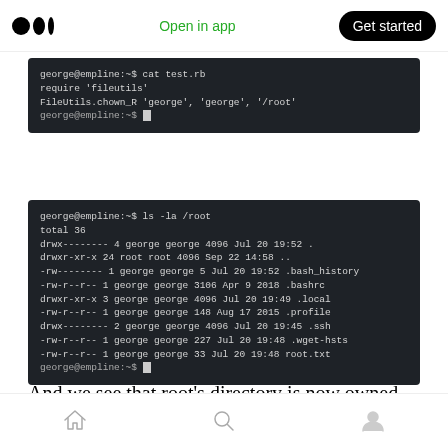Medium app header — Open in app | Get started
[Figure (screenshot): Terminal screenshot showing: george@empline:~$ cat test.rb / require 'fileutils' / FileUtils.chown_R 'george', 'george', '/root' / george@empline:~$]
[Figure (screenshot): Terminal screenshot showing: george@empline:~$ ls -la /root / total 36 / directory listing with george-owned files including .bash_history, .bashrc, .local, .profile, .ssh, .wget-hsts, root.txt]
And we see that root's directory is now owned by george , we can add ssh public key in
Bottom navigation bar with home, search, and profile icons